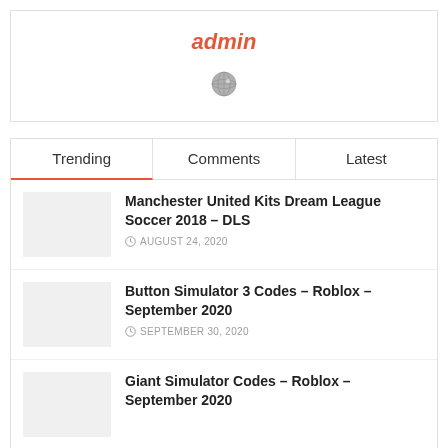admin
[Figure (illustration): Globe icon]
Trending | Comments | Latest
Manchester United Kits Dream League Soccer 2018 – DLS | AUGUST 24, 2020
Button Simulator 3 Codes – Roblox – September 2020 | SEPTEMBER 30, 2020
Giant Simulator Codes – Roblox – September 2020